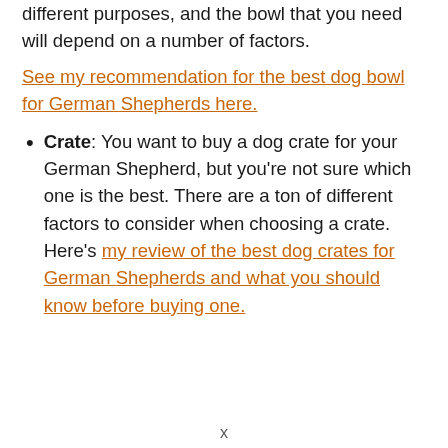different purposes, and the bowl that you need will depend on a number of factors.
See my recommendation for the best dog bowl for German Shepherds here.
Crate: You want to buy a dog crate for your German Shepherd, but you're not sure which one is the best. There are a ton of different factors to consider when choosing a crate. Here's my review of the best dog crates for German Shepherds and what you should know before buying one.
x